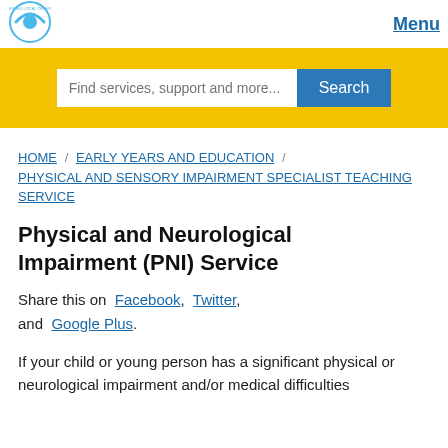[Figure (logo): Essex Local Offer circular logo with blue arc]
Menu
[Figure (screenshot): Search bar with placeholder 'Find services, support and more...' and blue Search button on yellow background]
HOME / EARLY YEARS AND EDUCATION / PHYSICAL AND SENSORY IMPAIRMENT SPECIALIST TEACHING SERVICE
Physical and Neurological Impairment (PNI) Service
Share this on Facebook, Twitter, and Google Plus.
If your child or young person has a significant physical or neurological impairment and/or medical difficulties